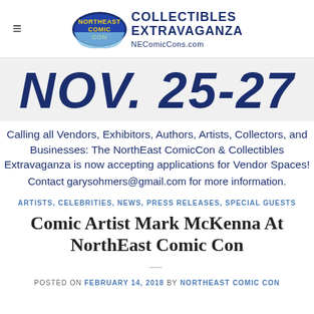≡  NorthEast ComicCon Collectibles Extravaganza NEComicCons.com
NOV. 25-27
Calling all Vendors, Exhibitors, Authors, Artists, Collectors, and Businesses: The NorthEast ComicCon & Collectibles Extravaganza is now accepting applications for Vendor Spaces!
Contact garysohmers@gmail.com for more information.
ARTISTS, CELEBRITIES, NEWS, PRESS RELEASES, SPECIAL GUESTS
Comic Artist Mark McKenna At NorthEast Comic Con
POSTED ON FEBRUARY 14, 2018 BY NORTHEAST COMIC CON